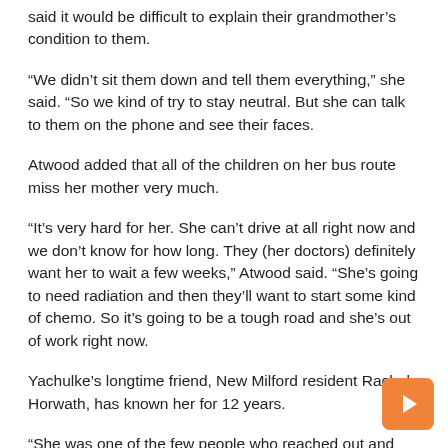said it would be difficult to explain their grandmother's condition to them.
“We didn’t sit them down and tell them everything,” she said. “So we kind of try to stay neutral. But she can talk to them on the phone and see their faces.
Atwood added that all of the children on her bus route miss her mother very much.
“It’s very hard for her. She can’t drive at all right now and we don’t know for how long. They (her doctors) definitely want her to wait a few weeks,” Atwood said. “She’s going to need radiation and then they’ll want to start some kind of chemo. So it’s going to be a tough road and she’s out of work right now.
Yachulke’s longtime friend, New Milford resident Rachel Horwath, has known her for 12 years.
“She was one of the few people who reached out and welcomed me,” said Horwath, who is also a bus driver. “She was just very